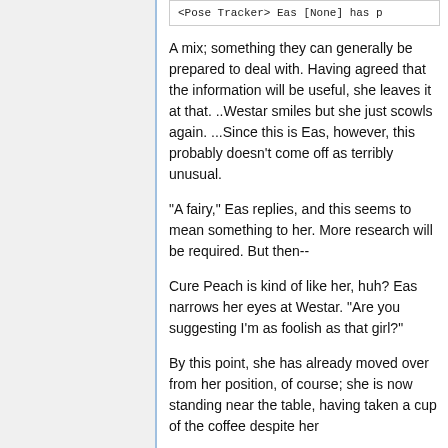<Pose Tracker> Eas [None] has p
A mix; something they can generally be prepared to deal with. Having agreed that the information will be useful, she leaves it at that. ..Westar smiles but she just scowls again. ...Since this is Eas, however, this probably doesn't come off as terribly unusual.
"A fairy," Eas replies, and this seems to mean something to her. More research will be required. But then--
Cure Peach is kind of like her, huh? Eas narrows her eyes at Westar. "Are you suggesting I'm as foolish as that girl?"
By this point, she has already moved over from her position, of course; she is now standing near the table, having taken a cup of the coffee despite her